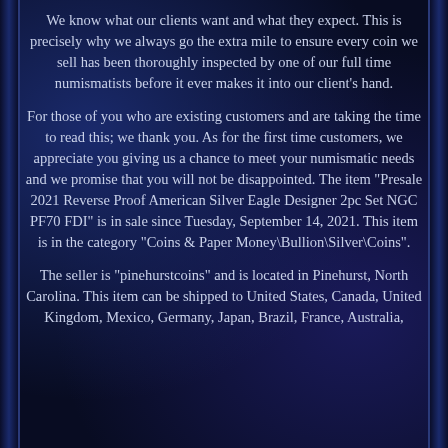We know what our clients want and what they expect. This is precisely why we always go the extra mile to ensure every coin we sell has been thoroughly inspected by one of our full time numismatists before it ever makes it into our client's hand.
For those of you who are existing customers and are taking the time to read this; we thank you. As for the first time customers, we appreciate you giving us a chance to meet your numismatic needs and we promise that you will not be disappointed. The item "Presale 2021 Reverse Proof American Silver Eagle Designer 2pc Set NGC PF70 FDI" is in sale since Tuesday, September 14, 2021. This item is in the category "Coins & Paper Money\Bullion\Silver\Coins".
The seller is "pinehurstcoins" and is located in Pinehurst, North Carolina. This item can be shipped to United States, Canada, United Kingdom, Mexico, Germany, Japan, Brazil, France, Australia,